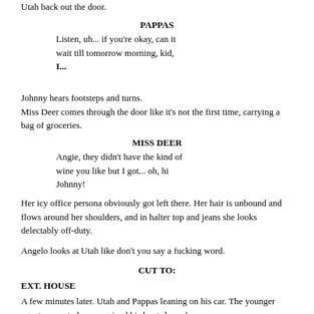Utah back out the door.
PAPPAS
Listen, uh... if you're okay, can it wait till tomorrow morning, kid, I...
Johnny hears footsteps and turns. Miss Deer comes through the door like it's not the first time, carrying a bag of groceries.
MISS DEER
Angie, they didn't have the kind of wine you like but I got... oh, hi Johnny!
Her icy office persona obviously got left there.  Her hair is unbound and flows around her shoulders, and in halter top and jeans she looks delectably off-duty.
Angelo looks at Utah like don't you say a fucking word.
CUT TO:
EXT.  HOUSE
A few minutes later.  Utah and Pappas leaning on his car. The younger agent seems to have regained his hunt-down fever.
UTAH